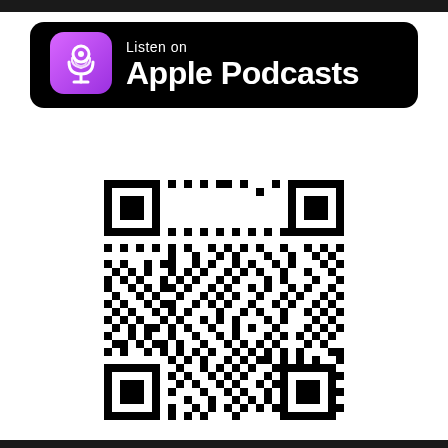[Figure (logo): Apple Podcasts badge — black rounded rectangle with purple podcast icon and white text 'Listen on Apple Podcasts']
[Figure (other): QR code linking to an Apple Podcasts page]